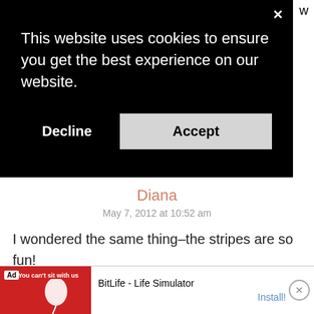[Figure (screenshot): Cookie consent banner overlay with black background showing message 'This website uses cookies to ensure you get the best experience on our website.' with Decline and Accept buttons, and an X close button in the top right.]
Diana
May 7, 2012 at 10:52 am
I wondered the same thing–the stripes are so fun!
Di…
[Figure (screenshot): Ad banner at bottom: BitLife - Life Simulator app advertisement with red background image, Ad label, 'You can't sit with us' text, and Install button.]